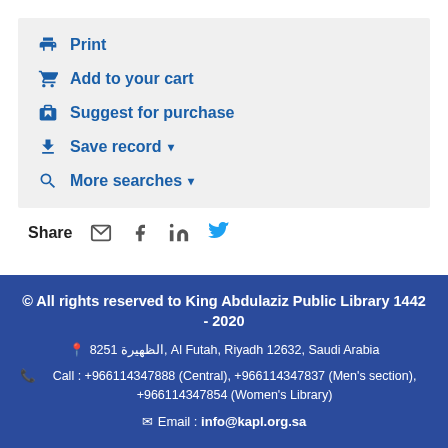Print
Add to your cart
Suggest for purchase
Save record ▼
More searches ▼
Share (email) (facebook) (linkedin) (twitter)
© All rights reserved to King Abdulaziz Public Library 1442 - 2020
8251 الظهيرة, Al Futah, Riyadh 12632, Saudi Arabia
Call : +966114347888 (Central), +966114347837 (Men's section), +966114347854 (Women's Library)
Email : info@kapl.org.sa